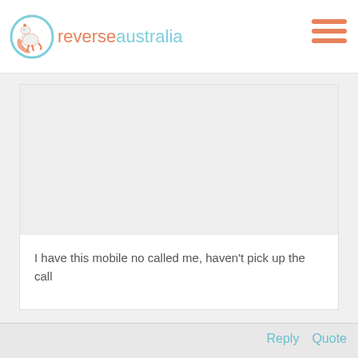reverseaustralia
[Figure (other): Gray placeholder content area, likely an advertisement or image block]
I have this mobile no called me, haven't pick up the call
Reply   Quote